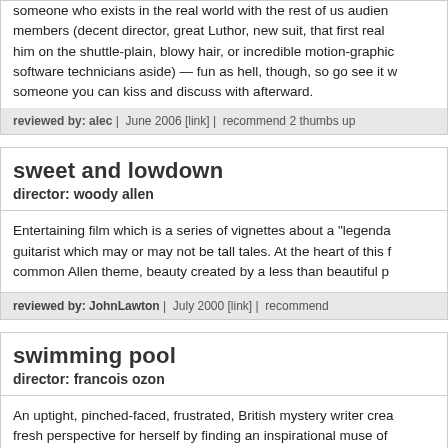someone who exists in the real world with the rest of us audience members (decent director, great Luthor, new suit, that first real him on the shuttle-plain, blowy hair, or incredible motion-graphic software technicians aside) — fun as hell, though, so go see it w someone you can kiss and discuss with afterward.
reviewed by: alec | June 2006 [link] | recommend 2 thumbs up
sweet and lowdown
director: woody allen
Entertaining film which is a series of vignettes about a "legenda guitarist which may or may not be tall tales. At the heart of this f common Allen theme, beauty created by a less than beautiful p
reviewed by: JohnLawton | July 2000 [link] | recommend
swimming pool
director: francois ozon
An uptight, pinched-faced, frustrated, British mystery writer crea fresh perspective for herself by finding an inspirational muse of while recharging her battery at her publisher's French country h Although I found the photography crisp, the camera angles eng and was left wondering if Marcel the aging gardener/poolman a serviced the writer turned sex kitten--I wish the producers had l cover on the Swimming Pool project altogether.